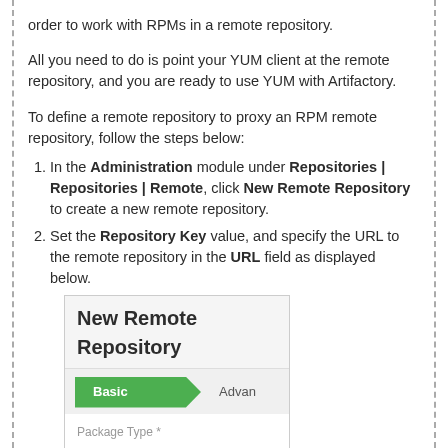order to work with RPMs in a remote repository.
All you need to do is point your YUM client at the remote repository, and you are ready to use YUM with Artifactory.
To define a remote repository to proxy an RPM remote repository, follow the steps below:
1. In the Administration module under Repositories | Repositories | Remote, click New Remote Repository to create a new remote repository.
2. Set the Repository Key value, and specify the URL to the remote repository in the URL field as displayed below.
[Figure (screenshot): New Remote Repository dialog showing Basic and Advanced tabs, with Package Type field and RPM package icon selected]